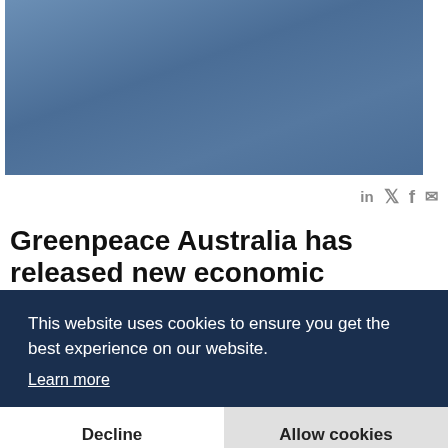[Figure (photo): Blue-grey rectangular hero image placeholder at the top of the page]
in 𝕏 f ✉
Greenpeace Australia has released new economic modeling revealing that wind power will be cheaper than coal by 2030
The claims contained in an ambitious blueprint to cut greenhouse gas emissions, which according to it, renewable... makes economic and environmental. sense. It says this would stabilize
This website uses cookies to ensure you get the best experience on our website.
Learn more
Decline
Allow cookies